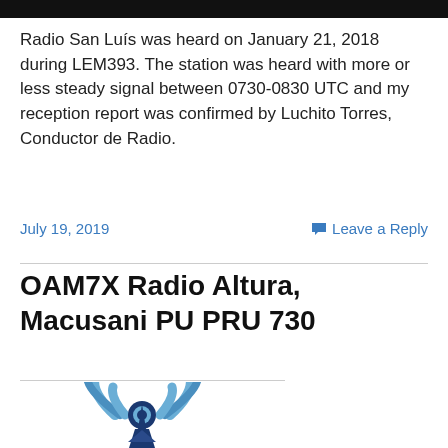[Figure (photo): Top black banner strip from a previous image]
Radio San Luís was heard on January 21, 2018 during LEM393. The station was heard with more or less steady signal between 0730-0830 UTC and my reception report was confirmed by Luchito Torres, Conductor de Radio.
July 19, 2019
Leave a Reply
OAM7X Radio Altura, Macusani PU PRU 730
[Figure (logo): Radio tower/antenna logo with signal waves, blue and dark navy colors]